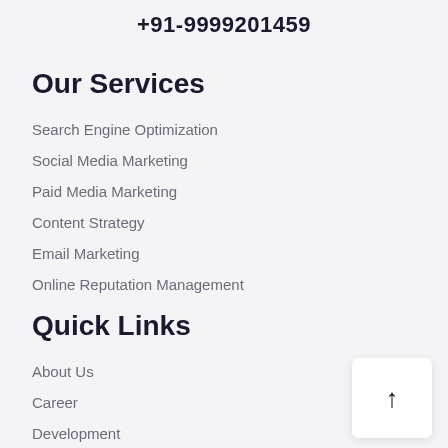+91-9999201459
Our Services
Search Engine Optimization
Social Media Marketing
Paid Media Marketing
Content Strategy
Email Marketing
Online Reputation Management
Quick Links
About Us
Career
Development